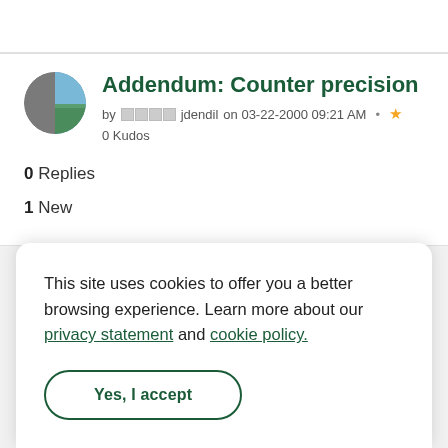[Figure (other): User avatar circle for jdendil — half gray half blue landscape photo]
Addendum: Counter precision
by jdendil on 03-22-2000 09:21 AM • 0 Kudos
0 Replies
1 New
This site uses cookies to offer you a better browsing experience. Learn more about our privacy statement and cookie policy.
Yes, I accept